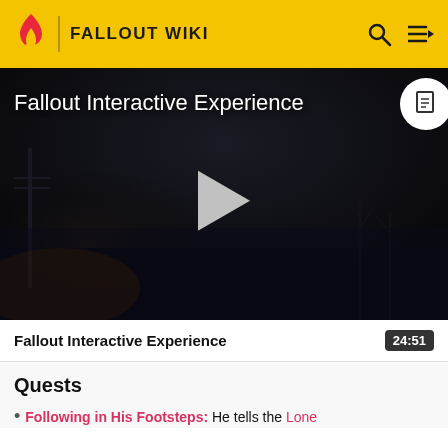FALLOUT WIKI
[Figure (screenshot): Dark post-apocalyptic scene showing abandoned urban environment at night/dusk. Title overlay reads 'Fallout Interactive Experience'. A large play button triangle is centered. A document icon button appears in top right corner.]
Fallout Interactive Experience   24:51
Quests
Following in His Footsteps: He tells the Lone